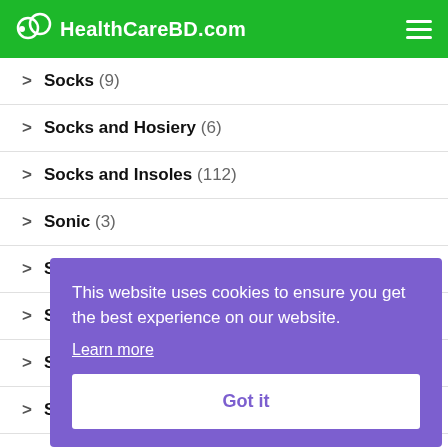HealthCareBD.com
Socks (9)
Socks and Hosiery (6)
Socks and Insoles (112)
Sonic (3)
S... (partially visible)
S... (partially visible)
S... (partially visible)
S... (partially visible)
S... (partially visible)
Sports and Handheld GPS (5)
This website uses cookies to ensure you get the best experience on our website. Learn more Got it